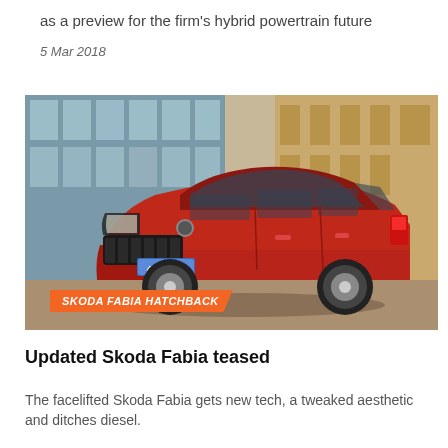as a preview for the firm's hybrid powertrain future
5 Mar 2018
[Figure (photo): Red Skoda Fabia hatchback parked on a cobblestone street in front of a stone building, front three-quarter view. License plate reads '4S1 2008'. Orange banner overlay reads 'SKODA FABIA HATCHBACK'.]
SKODA FABIA HATCHBACK
Updated Skoda Fabia teased
The facelifted Skoda Fabia gets new tech, a tweaked aesthetic and ditches diesel.